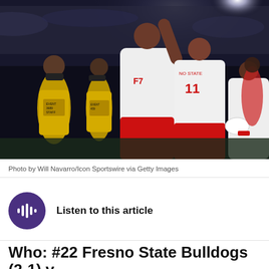[Figure (photo): Football players in white and red Fresno State uniforms celebrating on field at night, with event staff in yellow jackets in background, crowd in stadium behind them.]
Photo by Will Navarro/Icon Sportswire via Getty Images
Listen to this article
Who: #22 Fresno State Bulldogs (2-1) v.